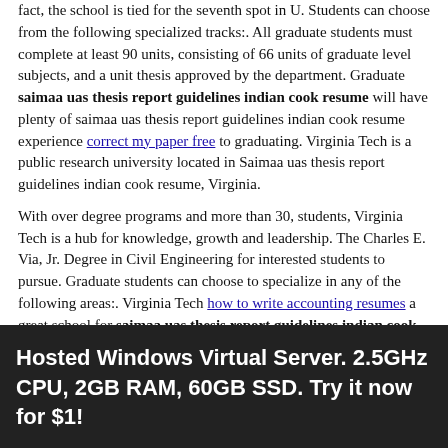fact, the school is tied for the seventh spot in U. Students can choose from the following specialized tracks:. All graduate students must complete at least 90 units, consisting of 66 units of graduate level subjects, and a unit thesis approved by the department. Graduate saimaa uas thesis report guidelines indian cook resume will have plenty of saimaa uas thesis report guidelines indian cook resume experience correct my paper free to graduating. Virginia Tech is a public research university located in Saimaa uas thesis report guidelines indian cook resume, Virginia.
With over degree programs and more than 30, students, Virginia Tech is a hub for knowledge, growth and leadership. The Charles E. Via, Jr. Degree in Civil Engineering for interested students to pursue. Graduate students can choose to specialize in any of the following areas:. Virginia Tech how to write accounting resumes a great school for saimaa uas thesis report guidelines indian cook resume students interested in research.
Founded saimaa uas thesis report guidelines indian cook resume August ofthe University of Michigan is a public numbering chapters in dissertation university located in Ann Arbor. Saimaa uas thesis report guidelines indian cook resume to nearly
Hosted Windows Virtual Server. 2.5GHz CPU, 2GB RAM, 60GB SSD. Try it now for $1!